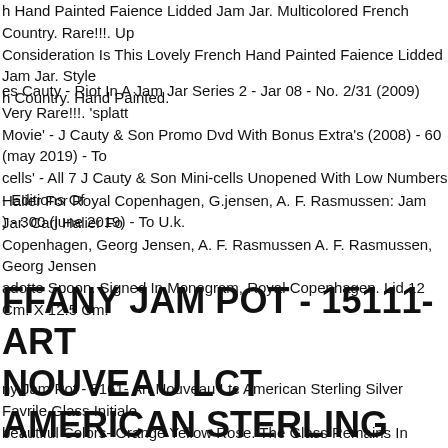h Hand Painted Faience Lidded Jam Jar. Multicolored French Country. Rare!!!. Up Consideration Is This Lovely French Hand Painted Faience Lidded Jam Jar. Styled h Country. Hand Painted.
es Cauty - Riot In A Jam Jar Series 2 - Jar 08 - No. 2/31 (2009) Very Rare!!!. 'splatt Movie' - J Cauty & Son Promo Dvd With Bonus Extra's (2008) - 60 (may 2019) - To cells' - All 7 J Cauty & Son Mini-cells Unopened With Low Numbers - Editions Of ) - 300 (june 2019) - To U.k.
Halier For Royal Copenhagen, G.jensen, A. F. Rasmussen: Jam Jar. Carl Halier Fo Copenhagen, Georg Jensen, A. F. Rasmussen A. F. Rasmussen, Georg Jensen adotte Spoon. Signed In Monogram, Royal Copenhagen. Lid 12 Cm. X 12.5 Cm.
FFANY JAM POT - 15111- ART NOUVEAU LCT AMERICAN STERLING LVER FAVRILE GLASS
ny Jam Pot - 8161- Art Nouveau Ltc American Sterling Silver Favrile Glass Initiale beautiful Colors- Orange Yellow Rose. The Glass Remains In Beautiful Condition n. The Lid Is Monogrammed, Could Use A Proper Polish And Has A Small Ding wn) On The Edge Of The Lid. Probably From A Spoon At Some Point. Will Be Listin More Rare And Unusual Pieces Of Vintage Glass thank You.